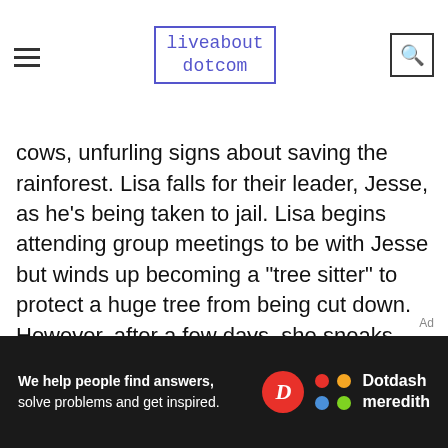liveabout dotcom
cows, unfurling signs about saving the rainforest. Lisa falls for their leader, Jesse, as he's being taken to jail. Lisa begins attending group meetings to be with Jesse but winds up becoming a "tree sitter" to protect a huge tree from being cut down. However, after a few days, she sneaks away and the tree is hit by lightning. The town presumes her dead and makes the land into a nature preserve in her honor. She doesn't reveal she's still alive until a rich Texan tries to turn it into an amusement park.
[Figure (screenshot): Dotdash Meredith advertisement banner: 'We help people find answers, solve problems and get inspired.' with Dotdash Meredith logo]